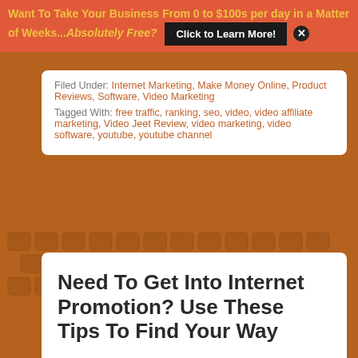Want To Take Your Business From 0 to $100s per day in a Matter of Weeks...Absolutely Free?   Click to Learn More!
Filed Under: Internet Marketing, Make Money Online, Product Reviews, Software, Video Marketing
Tagged With: free traffic, ranking, seo, video, video affiliate marketing, Video Jeet Review, video marketing, video software, youtube, youtube channel
Need To Get Into Internet Promotion? Use These Tips To Find Your Way
By evisionary marketer